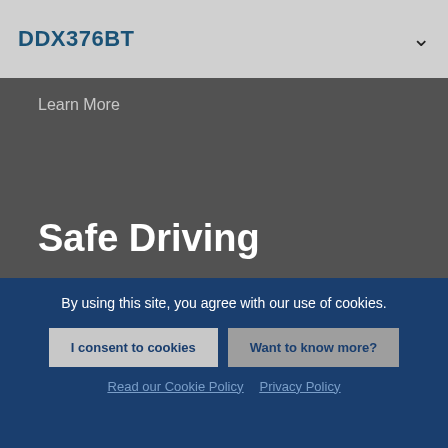DDX376BT
Learn More
Safe Driving
Keeping you safe on the road ahead is our top priority.
Learn More
By using this site, you agree with our use of cookies.
I consent to cookies
Want to know more?
Read our Cookie Policy   Privacy Policy